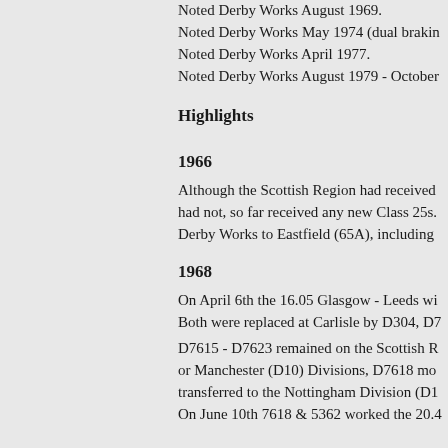Noted Derby Works August 1969.
Noted Derby Works May 1974 (dual brakin
Noted Derby Works April 1977.
Noted Derby Works August 1979 - October
Highlights
1966
Although the Scottish Region had received had not, so far received any new Class 25s. Derby Works to Eastfield (65A), including
1968
On April 6th the 16.05 Glasgow - Leeds wi Both were replaced at Carlisle by D304, D7
D7615 - D7623 remained on the Scottish R or Manchester (D10) Divisions, D7618 mo transferred to the Nottingham Division (D1
On June 10th 7618 & 5362 worked the 20.4
1969
On August 9th the 07.35 Nottingham - Llan 7618 & 7617. On August 16th the 07.33 Ya